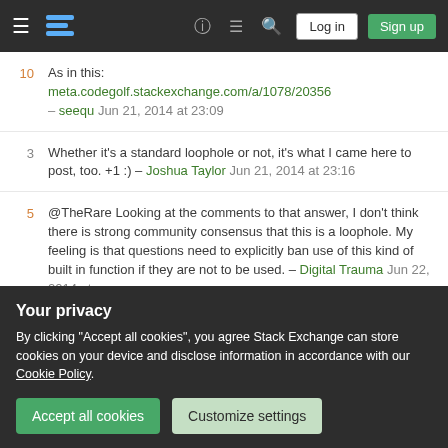Stack Exchange navigation bar with hamburger menu, logo, help, chat, search icons, Log in and Sign up buttons
10 As in this: meta.codegolf.stackexchange.com/a/1078/20356 – seequ Jun 21, 2014 at 23:09
3 Whether it's a standard loophole or not, it's what I came here to post, too. +1 :) – Joshua Taylor Jun 21, 2014 at 23:16
5 @TheRare Looking at the comments to that answer, I don't think there is strong community consensus that this is a loophole. My feeling is that questions need to explicitly ban use of this kind of built in function if they are not to be used. – Digital Trauma Jun 22, 2014 at
Your privacy
By clicking "Accept all cookies", you agree Stack Exchange can store cookies on your device and disclose information in accordance with our Cookie Policy.
Accept all cookies
Customize settings
10 So I made another one using my second idea plus a rule for them...